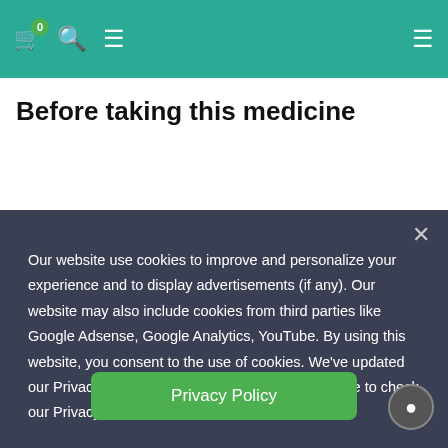behavior problems; seeing or hearing things that are not there. signs of circulation problems–unexplained wounds on your fingers or toes.
Before taking this medicine
Our website use cookies to improve and personalize your experience and to display advertisements (if any). Our website may also include cookies from third parties like Google Adsense, Google Analytics, YouTube. By using this website, you consent to the use of cookies. We've updated our Privacy Policy, please click on the button beside to check our Privacy Policy.
Privacy Policy